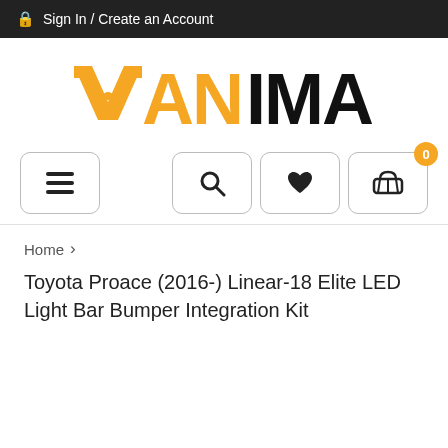Sign In / Create an Account
[Figure (logo): VANIMAL logo with orange stylized V and black text IMAL]
[Figure (screenshot): Navigation bar with hamburger menu, search, wishlist heart, and shopping cart (0 items) buttons]
Home >
Toyota Proace (2016-) Linear-18 Elite LED Light Bar Bumper Integration Kit